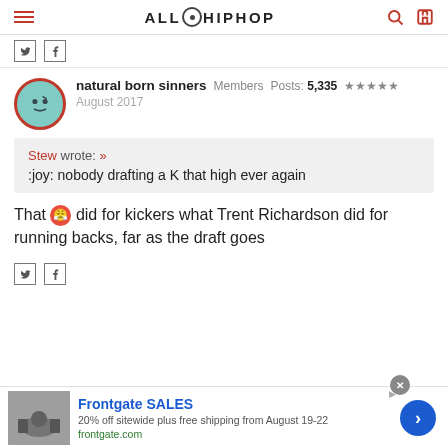ALLHIPHOP
natural born sinners  Members  Posts: 5,335  ★★★★★  August 2017
Stew wrote: »
:joy: nobody drafting a K that high ever again
That 😡 did for kickers what Trent Richardson did for running backs, far as the draft goes
Frontgate SALES
20% off sitewide plus free shipping from August 19-22
frontgate.com